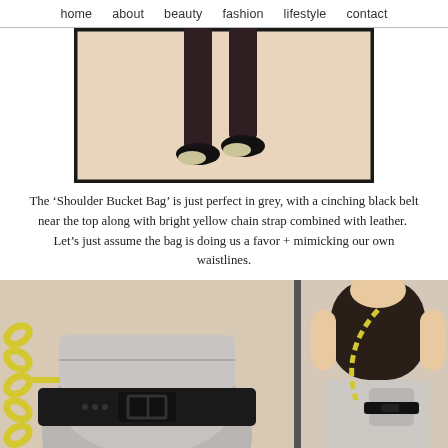home   about   beauty  fashion  lifestyle  contact
[Figure (photo): Close-up of a person's legs wearing dark leggings and black and yellow shoes, cropped at the thigh/knee level, on a beige/tan background with a dark border frame.]
The ‘Shoulder Bucket Bag’ is just perfect in grey, with a cinching black belt near the top along with bright yellow chain strap combined with leather.  Let’s just assume the bag is doing us a favor + mimicking our own waistlines.
[Figure (photo): Close-up photo of a grey leather shoulder bucket bag with a bright yellow chunky chain strap and a black belt with buckle across the top, on a beige background.]
[Figure (photo): Photo of a mannequin/model wearing a dark brown short-sleeve top and light grey skirt, carrying the grey shoulder bucket bag with yellow chain strap across the shoulder. Text 'top' appears in bottom right corner.]